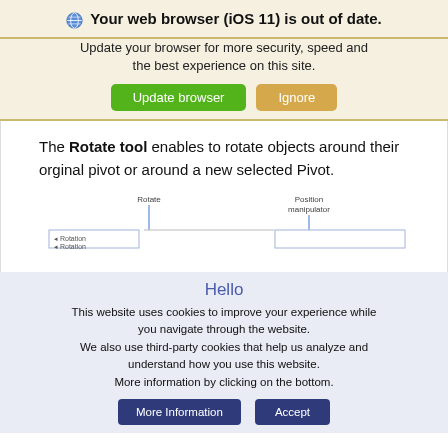Your web browser (iOS 11) is out of date.
Update your browser for more security, speed and the best experience on this site.
The Rotate tool enables to rotate objects around their orginal pivot or around a new selected Pivot.
[Figure (schematic): Diagram showing Rotate and Position manipulator tools with horizontal lines and labels]
Hello
This website uses cookies to improve your experience while you navigate through the website. We also use third-party cookies that help us analyze and understand how you use this website. More information by clicking on the bottom.